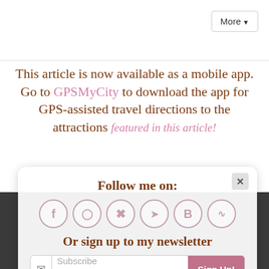[Figure (screenshot): Top navigation bar with More dropdown button]
This article is now available as a mobile app. Go to GPSMyCity to download the app for GPS-assisted travel directions to the attractions featured in this article!
[Figure (screenshot): Popup widget: Follow me on with social media icons (Facebook, Instagram, Pinterest, Twitter, Bloglovin, RSS), Or sign up to my newsletter with Subscribe input and Sign Up! button. Close X button in top right.]